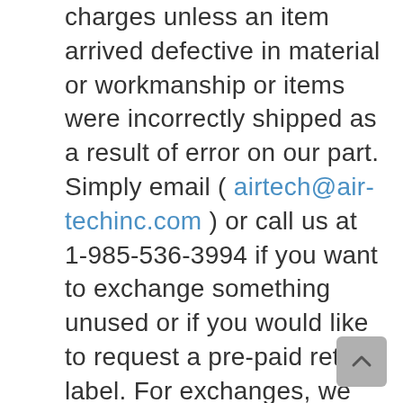charges unless an item arrived defective in material or workmanship or items were incorrectly shipped as a result of error on our part. Simply email ( airtech@air-techinc.com ) or call us at 1-985-536-3994 if you want to exchange something unused or if you would like to request a pre-paid return label. For exchanges, we will send in-stock items right away, charge your credit card, and credit the return once we've received and processed it. Unfortunately, we cannot refund original shipping charges for exchanges or returns, unless an item arrives defective in material or workmanship or was incorrectly shipped